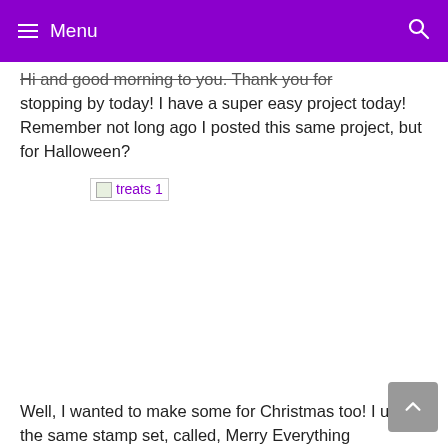Menu
Hi and good morning to you. Thank you for stopping by today! I have a super easy project today! Remember not long ago I posted this same project, but for Halloween?
[Figure (photo): Broken image placeholder labeled 'treats 1']
Well, I wanted to make some for Christmas too! I used the same stamp set, called, Merry Everything